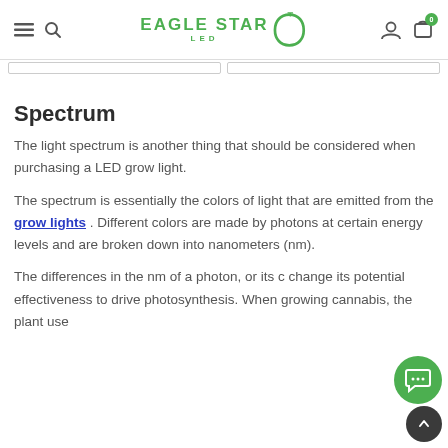Eagle Star LED — navigation bar with hamburger, search, logo, user and cart icons
Spectrum
The light spectrum is another thing that should be considered when purchasing a LED grow light.
The spectrum is essentially the colors of light that are emitted from the grow lights . Different colors are made by photons at certain energy levels and are broken down into nanometers (nm).
The differences in the nm of a photon, or its c change its potential effectiveness to drive photosynthesis. When growing cannabis, the plant use